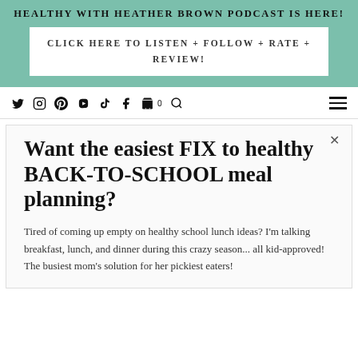HEALTHY WITH HEATHER BROWN PODCAST IS HERE!
CLICK HERE TO LISTEN + FOLLOW + RATE + REVIEW!
[Figure (screenshot): Navigation bar with social media icons: Twitter, Instagram, Pinterest, YouTube, TikTok, Facebook, Cart, Search, and hamburger menu]
Want the easiest FIX to healthy BACK-TO-SCHOOL meal planning?
Tired of coming up empty on healthy school lunch ideas? I'm talking breakfast, lunch, and dinner during this crazy season... all kid-approved! The busiest mom's solution for her pickiest eaters!